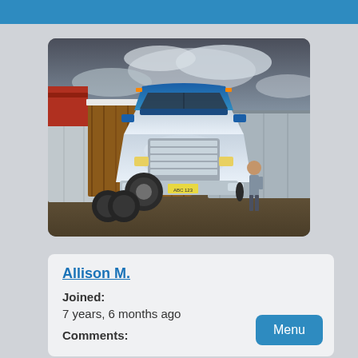[Figure (photo): A large blue and chrome semi-truck (Kenworth style) with wooden paneling on the trailer, parked in a truck yard under a dramatic cloudy sky. A person stands near the passenger side of the truck.]
Allison M.
Joined:
7 years, 6 months ago
Comments:
Menu